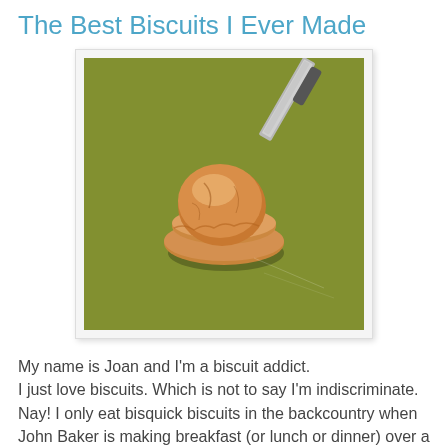The Best Biscuits I Ever Made
[Figure (photo): A golden-brown biscuit sitting on a green cutting board surface, with a knife visible in the upper right corner.]
My name is Joan and I'm a biscuit addict.
I just love biscuits. Which is not to say I'm indiscriminate. Nay! I only eat bisquick biscuits in the backcountry when John Baker is making breakfast (or lunch or dinner) over a camp stove. But I eat biscuits most any chance I get when